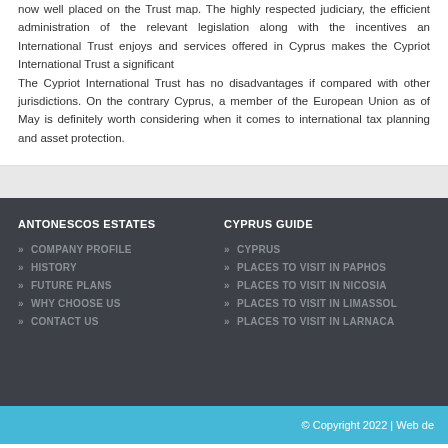now well placed on the Trust map. The highly respected judiciary, the efficient administration of the relevant legislation along with the incentives an International Trust enjoys and services offered in Cyprus makes the Cypriot International Trust a significant
The Cypriot International Trust has no disadvantages if compared with other jurisdictions. On the contrary Cyprus, a member of the European Union as of May is definitely worth considering when it comes to international tax planning and asset protection.
ANTONESCOS ESTATES
» COMPANY PROFILE
» HISTORY
» FUTURE PLANS
» WHY CHOOSE US
» CONTACT US
CYPRUS GUIDE
» CYPRUS
» PLACES TO VISIT IN PAPHOS
» PLACES TO VISIT IN NICOSIA
» PLACES TO VISIT IN LIMASSOL
» PLACES TO VISIT IN LARNACA
© Copyright 2022 | Web de